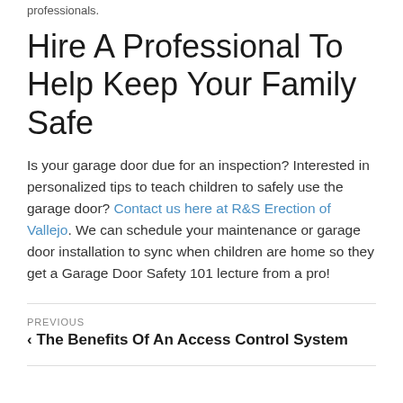professionals.
Hire A Professional To Help Keep Your Family Safe
Is your garage door due for an inspection? Interested in personalized tips to teach children to safely use the garage door? Contact us here at R&S Erection of Vallejo. We can schedule your maintenance or garage door installation to sync when children are home so they get a Garage Door Safety 101 lecture from a pro!
PREVIOUS
< The Benefits Of An Access Control System